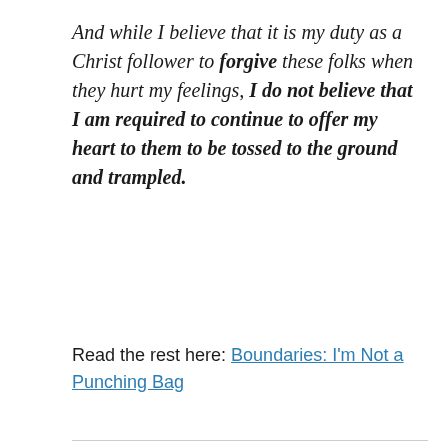And while I believe that it is my duty as a Christ follower to forgive these folks when they hurt my feelings, I do not believe that I am required to continue to offer my heart to them to be tossed to the ground and trampled.
Read the rest here: Boundaries: I'm Not a Punching Bag
Share this:
Save 3 cket 0 Tweet Email More
Loading